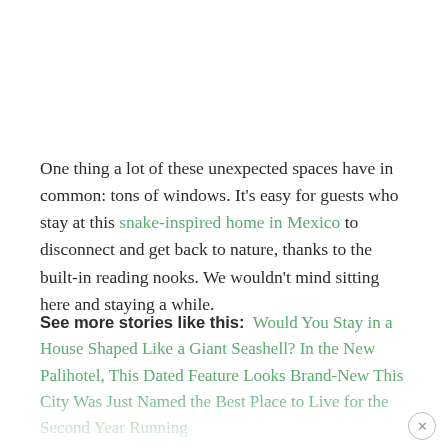One thing a lot of these unexpected spaces have in common: tons of windows. It's easy for guests who stay at this snake-inspired home in Mexico to disconnect and get back to nature, thanks to the built-in reading nooks. We wouldn't mind sitting here and staying a while.
See more stories like this: Would You Stay in a House Shaped Like a Giant Seashell? In the New Palihotel, This Dated Feature Looks Brand-New This City Was Just Named the Best Place to Live for the Second Year Running